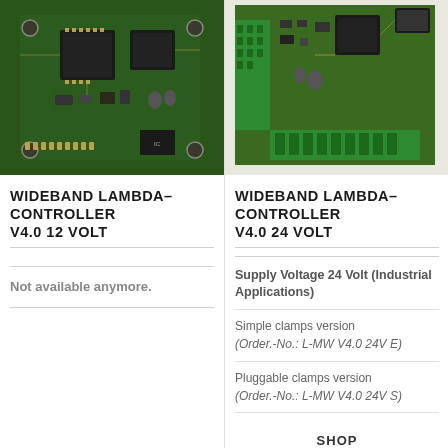[Figure (photo): PCB photo of Wideband Lambda-Controller V4.0 12 Volt - green circuit board with microcontrollers and components]
[Figure (photo): PCB photo of Wideband Lambda-Controller V4.0 24 Volt - green circuit board with green terminal clamps]
WIDEBAND LAMBDA-CONTROLLER V4.0 12 VOLT
WIDEBAND LAMBDA-CONTROLLER V4.0 24 VOLT
Not available anymore.
Supply Voltage 24 Volt (Industrial Applications)
Simple clamps version (Order.-No.: L-MW V4.0 24V E)
Pluggable clamps version (Order.-No.: L-MW V4.0 24V S)
SHOP